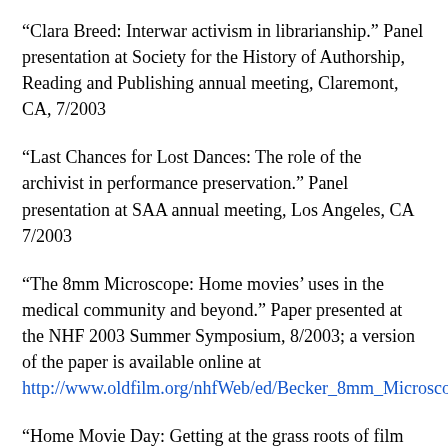“Clara Breed: Interwar activism in librarianship.” Panel presentation at Society for the History of Authorship, Reading and Publishing annual meeting, Claremont, CA, 7/2003
“Last Chances for Lost Dances: The role of the archivist in performance preservation.” Panel presentation at SAA annual meeting, Los Angeles, CA 7/2003
“The 8mm Microscope: Home movies’ uses in the medical community and beyond.” Paper presented at the NHF 2003 Summer Symposium, 8/2003; a version of the paper is available online at http://www.oldfilm.org/nhfWeb/ed/Becker_8mm_Microscope
“Home Movie Day: Getting at the grass roots of film preservation.” Session chair and panelist, AMIA annual